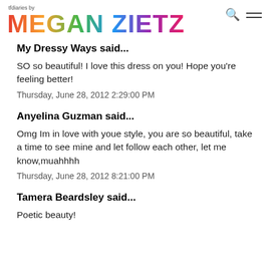tfdiaries by MEGAN ZIETZ
My Dressy Ways said...
SO so beautiful! I love this dress on you! Hope you're feeling better!
Thursday, June 28, 2012 2:29:00 PM
Anyelina Guzman said...
Omg Im in love with youe style, you are so beautiful, take a time to see mine and let follow each other, let me know,muahhhh
Thursday, June 28, 2012 8:21:00 PM
Tamera Beardsley said...
Poetic beauty!